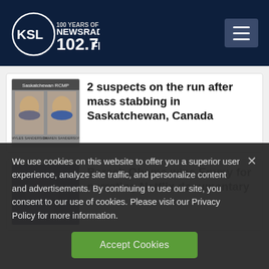KSL NewsRadio 102.7 FM
[Figure (screenshot): Thumbnail showing two mugshot photos of suspects with caption names below]
2 suspects on the run after mass stabbing in Saskatchewan, Canada
[Figure (photo): Dark blurred thumbnail for Barack Obama story]
Barack Obama wins Emmy for narrating Netflix documentary
We use cookies on this website to offer you a superior user experience, analyze site traffic, and personalize content and advertisements. By continuing to use our site, you consent to our use of cookies. Please visit our Privacy Policy for more information.